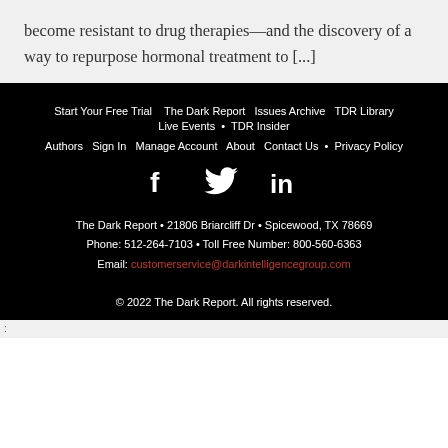become resistant to drug therapies—and the discovery of a way to repurpose hormonal treatment to [...]
Start Your Free Trial  The Dark Report  Issues Archive  TDR Library  Live Events • TDR Insider  Authors  Sign In  Manage Account  About  Contact Us • Privacy Policy  [Social icons: Facebook, Twitter, LinkedIn]  The Dark Report • 21806 Briarcliff Dr • Spicewood, TX 78669  Phone: 512-264-7103 • Toll Free Number: 800-560-6363  Email: customerservice@darkintelligencegroup.com  © 2022 The Dark Report. All rights reserved.
: